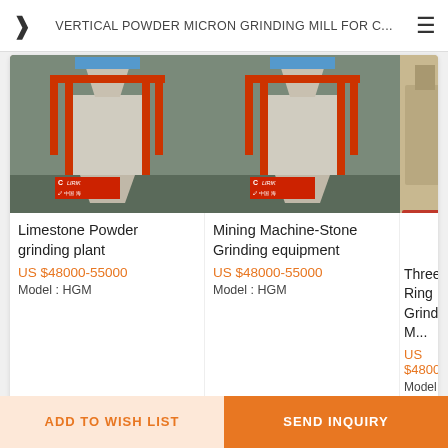VERTICAL POWDER MICRON GRINDING MILL FOR C...
[Figure (screenshot): Product listing cards showing grinding mill equipment. Card 1: Limestone Powder grinding plant, US $48000-55000, Model: HGM. Card 2: Mining Machine-Stone Grinding equipment, US $48000-55000, Model: HGM. Card 3 (partial): Three Ring Grinding M..., US $48000-, Model: HGM]
KeyWords
micro powder grinding mill
Super micro pulverizer machine
ADD TO WISH LIST
SEND INQUIRY